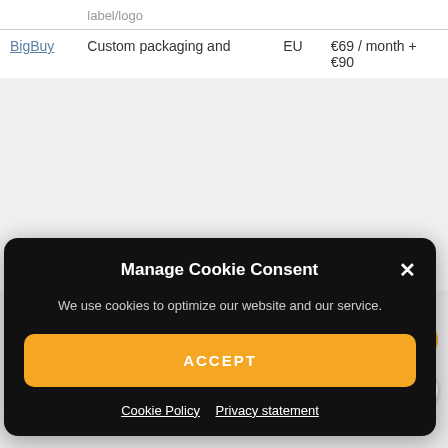|  | label/logo |  |  |  |
| --- | --- | --- | --- | --- |
| BigBuy | Custom packaging and | EU | €69 / month + €90 |  |
[Figure (screenshot): Cookie consent modal overlay on a dark background with title 'Manage Cookie Consent', body text 'We use cookies to optimize our website and our service.', an orange ACCEPT button, and links to Cookie Policy and Privacy statement]